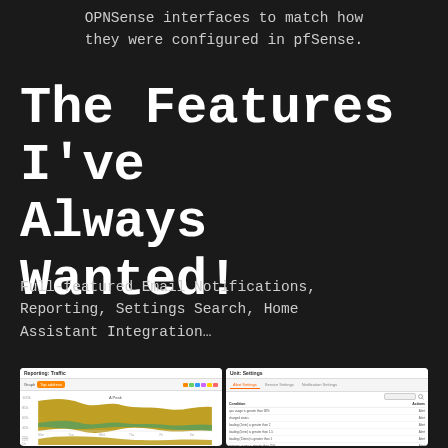OPNSense interfaces to match how they were configured in pfSense.
The Features I've Always Wanted!
Full-featured Email Notifications, Reporting, Settings Search, Home Assistant Integration…
[Figure (screenshot): Reporting: Traffic area chart showing network traffic over time with green and gold colored areas]
[Figure (screenshot): Unit: Settings panel showing Alert Settings, Service Settings, and Notification Settings tabs with a table listing conditions like cpu usage is greater than 90%, charged status, loading (1min) is greater than 2, etc. with Alert actions]